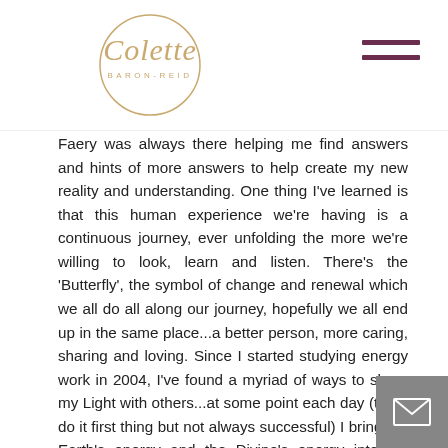Colette Baron-Reid — site header with logo and hamburger menu
Faery was always there helping me find answers and hints of more answers to help create my new reality and understanding. One thing I've learned is that this human experience we're having is a continuous journey, ever unfolding the more we're willing to look, learn and listen. There's the 'Butterfly', the symbol of change and renewal which we all do all along our journey, hopefully we all end up in the same place...a better person, more caring, sharing and loving. Since I started studying energy work in 2004, I've found a myriad of ways to share my Light with others...at some point each day (try to do it first thing but not always successful) I bring the Earth's energy and the Divine's energy into my heart then send the combined energy out to family, friends, co-workers, community, etc. until it's expanded to everyone in the world...send intention for all people to have shelter, clothing,